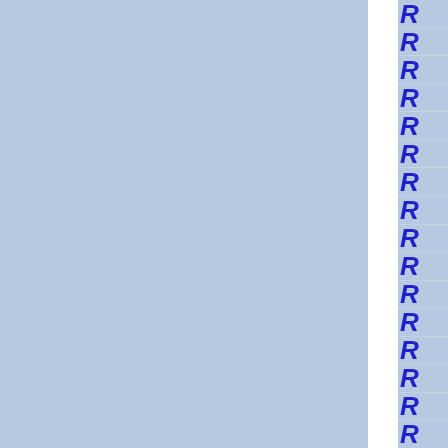[Figure (other): Page layout showing two blue panels separated by a white vertical divider, with a right column containing rows of italic bold blue letter R, separated by thin horizontal lines on a blue background.]